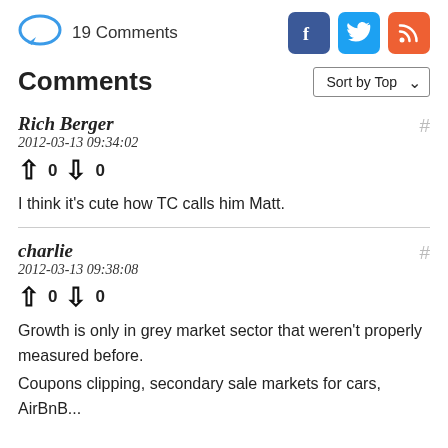19 Comments
Comments
Rich Berger
2012-03-13 09:34:02
↑ 0 ↓ 0
I think it's cute how TC calls him Matt.
charlie
2012-03-13 09:38:08
↑ 0 ↓ 0
Growth is only in grey market sector that weren't properly measured before.
Coupons clipping, secondary sale markets for cars, AirBnB...